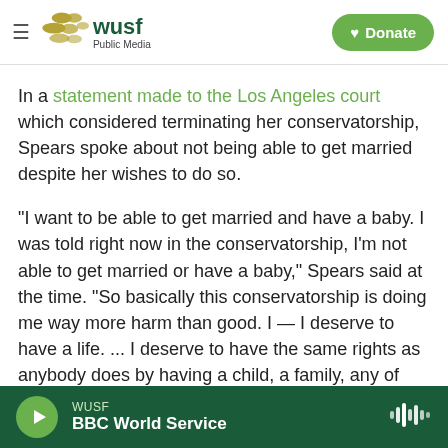WUSF Public Media — Donate
In a statement made to the Los Angeles court which considered terminating her conservatorship, Spears spoke about not being able to get married despite her wishes to do so.
"I want to be able to get married and have a baby. I was told right now in the conservatorship, I'm not able to get married or have a baby," Spears said at the time. "So basically this conservatorship is doing me way more harm than good. I — I deserve to have a life. ... I deserve to have the same rights as anybody does by having a child, a family, any of
WUSF — BBC World Service